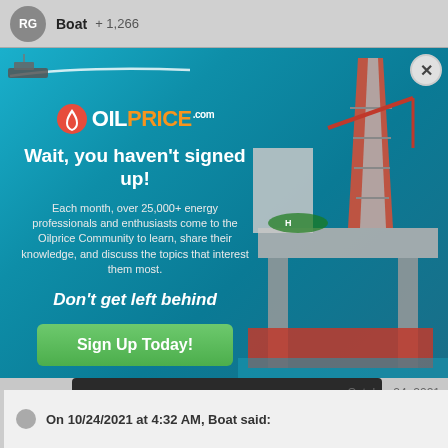RG  Boat  +1,266
[Figure (screenshot): OilPrice.com popup advertisement over ocean/oil rig background. Contains logo, headline 'Wait, you haven't signed up!', subtext about 25,000+ energy professionals, 'Don't get left behind' tagline, and green 'Sign Up Today!' button. Close button (X) in top right. OptinMonster branding bar below.]
October 24, 2021
On 10/24/2021 at 4:32 AM, Boat said: